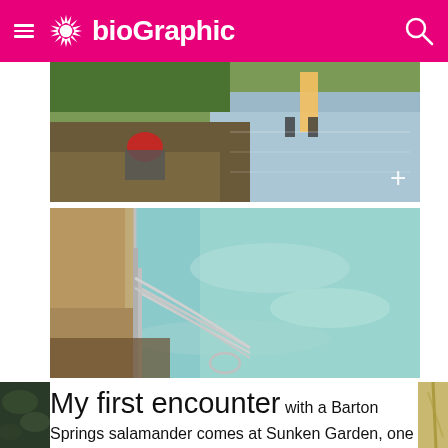bioGraphic
[Figure (photo): People crouching at the edge of a muddy riverbank or spring, with a person in red hat and a person in yellow shorts visible near the water. A white plus icon is in the lower right corner of the image.]
[Figure (photo): A pool or spring with clear turquoise-green water and metal railing/steps descending into it. Stone or concrete surrounds the pool.]
My first encounter with a Barton Springs salamander comes at Sunken Garden, one of the smaller springs in Zilker Park. The spring sits at the bottom of two sets of crumbling steps, just beyond a locked gate that carries a sign warning of jail time or steep fines for trespassing on "Federally Protected Habitat." There's
[Figure (photo): Partial photo on the left edge showing dark foliage or vegetation.]
[Figure (photo): Partial photo on the right edge showing what appears to be a branch or rope.]